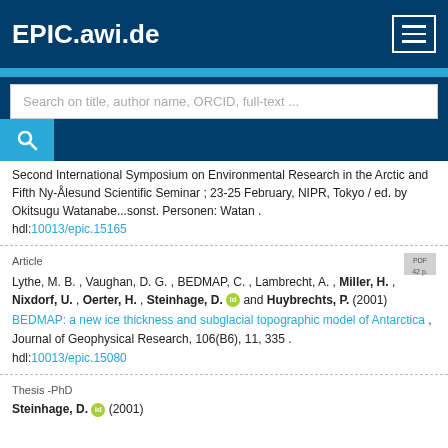EPIC.awi.de
Search on title, author name, ORCID, full-text ...
Second International Symposium on Environmental Research in the Arctic and Fifth Ny-Ålesund Scientific Seminar ; 23-25 February, NIPR, Tokyo / ed. by Okitsugu Watanabe...sonst. Personen: Watan .
hdl:10013/epic.15165
Article
Lythe, M. B. , Vaughan, D. G. , BEDMAP, C. , Lambrecht, A. , Miller, H. , Nixdorf, U. , Oerter, H. , Steinhage, D. [orcid] and Huybrechts, P. (2001)
BEDMAP: a new ice thickness and subglacial topographic model of Antarctica ,
Journal of Geophysical Research, 106(B6), 11, 335 .
hdl:10013/epic.15080
Thesis -PhD
Steinhage, D. [orcid] (2001)